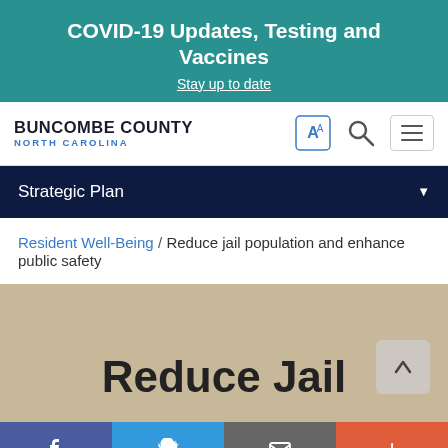COVID-19 Updates, Testing and Vaccines
Stay up to date
[Figure (screenshot): Buncombe County North Carolina government website navigation bar with logo, translate icon, search icon, and hamburger menu button]
Strategic Plan
Resident Well-Being / Reduce jail population and enhance public safety
Reduce Jail
[Figure (infographic): Social media share bar with Facebook, Twitter, Email, and plus buttons]